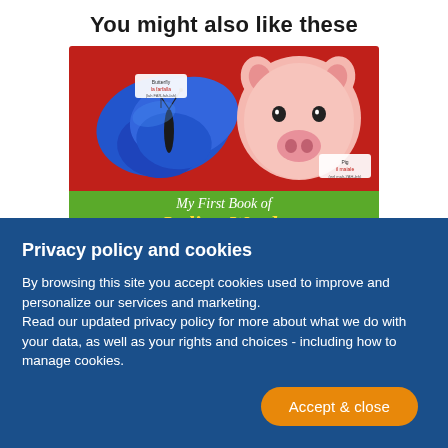You might also like these
[Figure (photo): Book cover of 'My First Book of Italian Words' showing a blue butterfly on the left and a pink pig on the right, with a red background on top and a green banner at the bottom with the book title text.]
Privacy policy and cookies
By browsing this site you accept cookies used to improve and personalize our services and marketing.
Read our updated privacy policy for more about what we do with your data, as well as your rights and choices - including how to manage cookies.
Accept & close